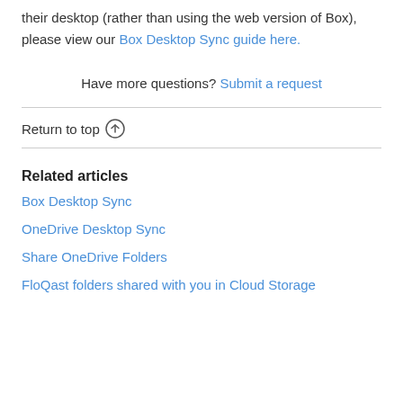their desktop (rather than using the web version of Box), please view our Box Desktop Sync guide here.
Have more questions? Submit a request
Return to top
Related articles
Box Desktop Sync
OneDrive Desktop Sync
Share OneDrive Folders
FloQast folders shared with you in Cloud Storage